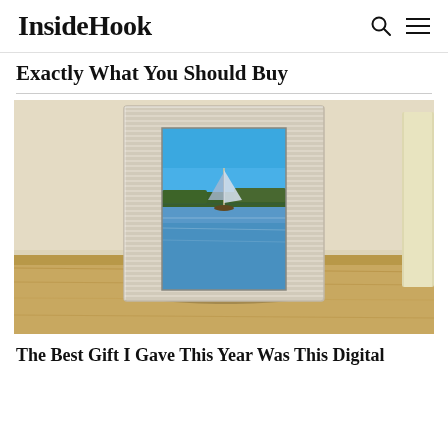InsideHook
Exactly What You Should Buy
[Figure (photo): A white/cream ribbed digital picture frame standing on a wooden surface, displaying a photo of a sailboat on a calm lake with blue sky and green trees in the background. A light-colored rectangular object is partially visible on the right edge.]
The Best Gift I Gave This Year Was This Digital